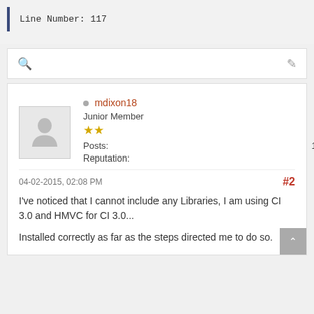Line Number: 117
[Figure (screenshot): Toolbar with search icon and pencil/edit icon]
mdixon18
Junior Member
Posts: 18
Reputation: 0
04-02-2015, 02:08 PM  #2
I've noticed that I cannot include any Libraries, I am using CI 3.0 and HMVC for CI 3.0...
Installed correctly as far as the steps directed me to do so.